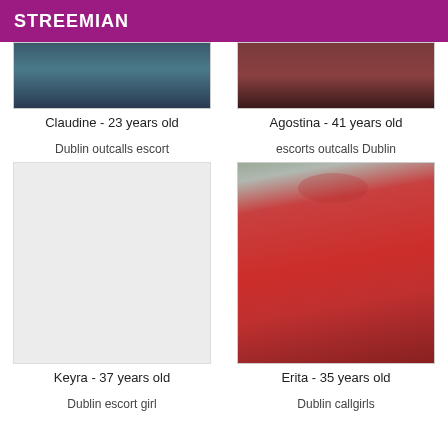STREEMIAN
[Figure (photo): Partial photo of Claudine, cropped at waist level showing denim clothing]
[Figure (photo): Partial photo of Agostina, dark reddish tones, face partially visible]
Claudine - 23 years old
Agostina - 41 years old
Dublin outcalls escort
escorts outcalls Dublin
[Figure (photo): No image shown for Keyra (blank area)]
[Figure (photo): Photo of Erita wearing a red latex/vinyl mini dress, taking a mirror selfie]
Keyra - 37 years old
Erita - 35 years old
Dublin escort girl
Dublin callgirls